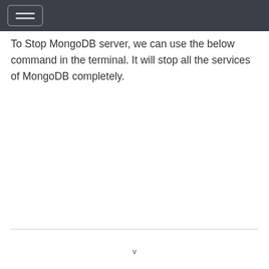To Stop MongoDB server, we can use the below command in the terminal. It will stop all the services of MongoDB completely.
v